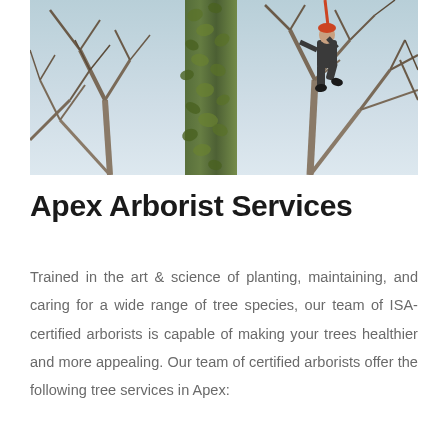[Figure (photo): A person (arborist) climbing high in bare winter trees with ivy-covered trunk, against a pale blue sky. The climber is visible in the upper right portion wearing dark clothing and boots.]
Apex Arborist Services
Trained in the art & science of planting, maintaining, and caring for a wide range of tree species, our team of ISA-certified arborists is capable of making your trees healthier and more appealing. Our team of certified arborists offer the following tree services in Apex: